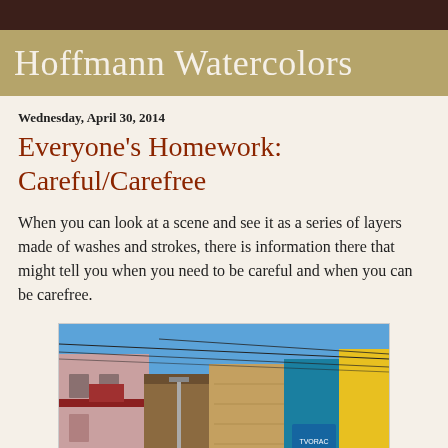Hoffmann Watercolors
Everyone's Homework: Careful/Carefree
Wednesday, April 30, 2014
When you can look at a scene and see it as a series of layers made of washes and strokes, there is information there that might tell you when you need to be careful and when you can be carefree.
[Figure (photo): Street scene with colorful buildings — pink/red facade on the left, a ruined brown-orange wall in the center, and a bright yellow wall with a blue mural on the right. Power lines visible overhead against a blue sky.]